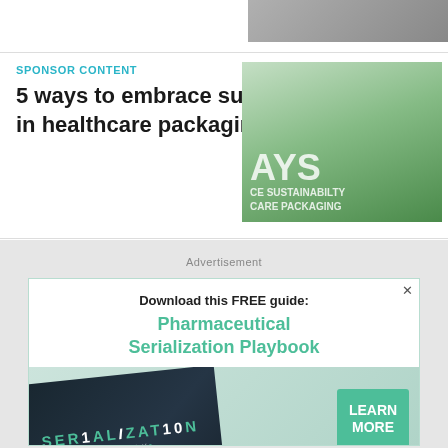[Figure (photo): Small thumbnail image of a device, partially visible at top right]
SPONSOR CONTENT
5 ways to embrace sustainability in healthcare packaging
[Figure (photo): Green-toned promotional image with text 'AYS CE SUSTAINABILTY CARE PACKAGING']
Advertisement
[Figure (infographic): Advertisement banner: 'Download this FREE guide: Pharmaceutical Serialization Playbook' with book cover image and 'LEARN MORE' button]